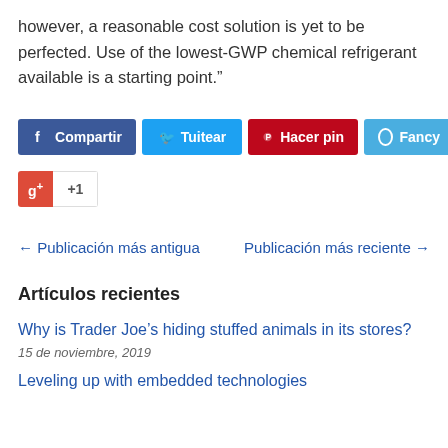however, a reasonable cost solution is yet to be perfected. Use of the lowest-GWP chemical refrigerant available is a starting point.”
[Figure (other): Social sharing buttons row: Compartir (Facebook, blue), Tuitear (Twitter, light blue), Hacer pin (Pinterest, red), Fancy (light blue), and Google+ +1 button]
← Publicación más antigua    Publicación más reciente →
Artículos recientes
Why is Trader Joe’s hiding stuffed animals in its stores?
15 de noviembre, 2019
Leveling up with embedded technologies